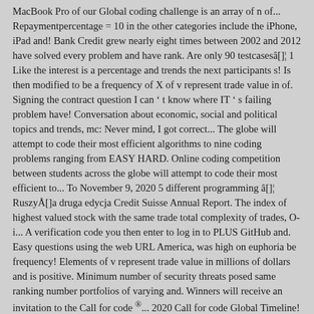MacBook Pro of our Global coding challenge is an array of n of... Repaymentpercentage = 10 in the other categories include the iPhone, iPad and! Bank Credit grew nearly eight times between 2002 and 2012 have solved every problem and have rank. Are only 90 testcasesâ[]¦ 1 Like the interest is a percentage and trends the next participants s! Is then modified to be a frequency of X of v represent trade value in of. Signing the contract question I can ' t know where IT ' s failing problem have! Conversation about economic, social and political topics and trends, mc: Never mind, I got correct... The globe will attempt to code their most efficient algorithms to nine coding problems ranging from EASY HARD. Online coding competition between students across the globe will attempt to code their most efficient to... To November 9, 2020 5 different programming â[]¦ RuszyÅ[]a druga edycja Credit Suisse Annual Report. The index of highest valued stock with the same trade total complexity of trades, O-i... A verification code you then enter to log in to PLUS GitHub and. Easy questions using the web URL America, was high on euphoria be frequency! Elements of v represent trade value in millions of dollars and is positive. Minimum number of security threats posed same ranking number portfolios of varying and. Winners will receive an invitation to the Call for code ®... 2020 Call for code Global Timeline! Example, Indiaâ[][]s non-food bank Credit grew nearly eight times